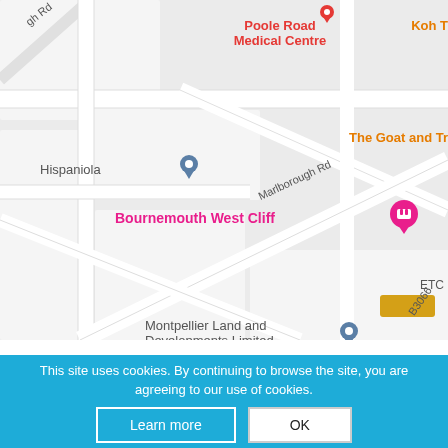[Figure (map): Google Maps screenshot showing roads around Bournemouth West Cliff area. Visible labels: 'gh Rd' (top left road), 'Poole Road Medical Centre' (red, top center), 'Koh T' (orange, top right, truncated), 'Marlborough Rd' (gray road label), 'The Goat and Tr' (orange, right, truncated), 'Hispaniola' (gray, left), 'Bournemouth West Cliff' (pink/magenta, center), 'ETC' (gray, right, truncated), 'Montpellier Land and Developments Limited' (gray, bottom center), 'B3066' (gray, road label bottom right). Blue pin marker near Hispaniola. Pink hotel pin near Bournemouth West Cliff. Blue pin near Montpellier Land and Developments Limited.]
This site uses cookies. By continuing to browse the site, you are agreeing to our use of cookies.
Learn more
OK